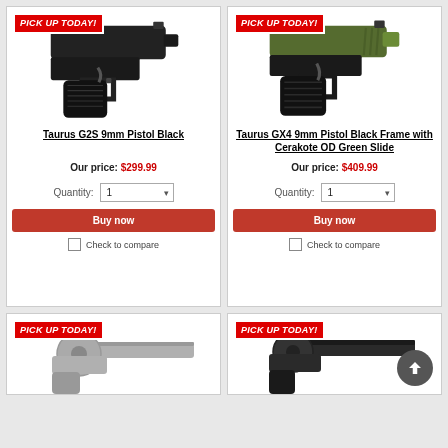[Figure (photo): Taurus G2S 9mm pistol, black, side profile view]
Taurus G2S 9mm Pistol Black
Our price: $299.99
Quantity: 1
Buy now
Check to compare
[Figure (photo): Taurus GX4 9mm pistol, black frame with Cerakote OD Green slide, side profile view]
Taurus GX4 9mm Pistol Black Frame with Cerakote OD Green Slide
Our price: $409.99
Quantity: 1
Buy now
Check to compare
[Figure (photo): Revolver, stainless steel, partial view]
[Figure (photo): Revolver, black, partial view]